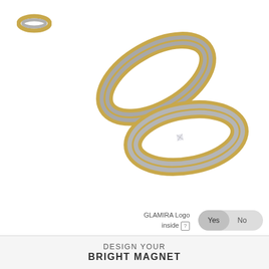[Figure (photo): Small thumbnail image of a two-tone gold and silver wedding band ring, top-left corner]
[Figure (photo): Two two-tone wedding rings (yellow gold edges with matte silver/white center), one plain and one with a small diamond setting, overlapping on white background]
GLAMIRA Logo inside [?]
Yes  No
DESIGN YOUR
BRIGHT MAGNET